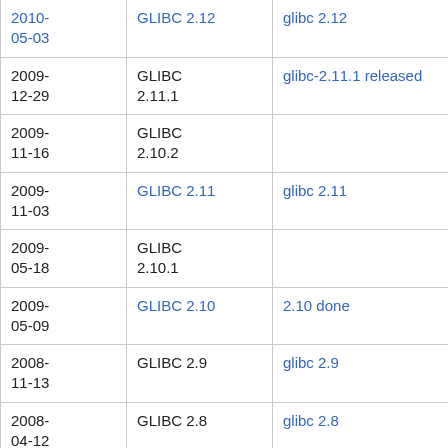| Date | Tag | Description |
| --- | --- | --- |
| 2010-05-03 | GLIBC 2.12 | glibc 2.12 |
| 2009-12-29 | GLIBC 2.11.1 | glibc-2.11.1 released |
| 2009-11-16 | GLIBC 2.10.2 |  |
| 2009-11-03 | GLIBC 2.11 | glibc 2.11 |
| 2009-05-18 | GLIBC 2.10.1 |  |
| 2009-05-09 | GLIBC 2.10 | 2.10 done |
| 2008-11-13 | GLIBC 2.9 | glibc 2.9 |
| 2008-04-12 | GLIBC 2.8 | glibc 2.8 |
| 2007-10-19 | GLIBC 2.7 | glibc 2.7 |
| 2007-07-31 | GLIBC 2.6.1 | GNU C Library version 2.6.1 release |
| 2007-... | GLIBC ... | GNU C Library version ... |